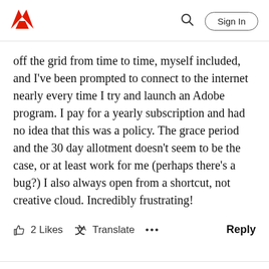Adobe | Sign In
off the grid from time to time, myself included, and I've been prompted to connect to the internet nearly every time I try and launch an Adobe program. I pay for a yearly subscription and had no idea that this was a policy. The grace period and the 30 day allotment doesn't seem to be the case, or at least work for me (perhaps there's a bug?) I also always open from a shortcut, not creative cloud. Incredibly frustrating!
2 Likes  Translate  ...  Reply